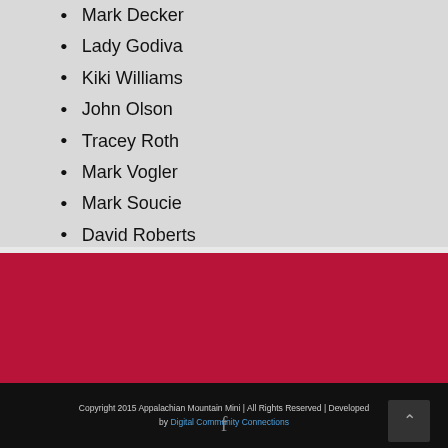Mark Decker
Lady Godiva
Kiki Williams
John Olson
Tracey Roth
Mark Vogler
Mark Soucie
David Roberts
Copyright 2015 Appalachian Mountain Mini | All Rights Reserved | Developed by Digital Community Connections